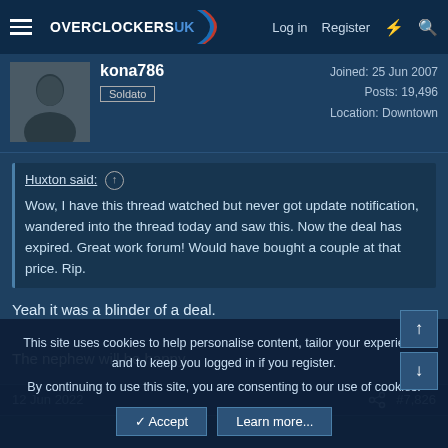Overclockers UK | Log in | Register
kona786 | Soldato | Joined: 25 Jun 2007 | Posts: 19,496 | Location: Downtown
Huxton said: ↑
Wow, I have this thread watched but never got update notification, wandered into the thread today and saw this. Now the deal has expired. Great work forum! Would have bought a couple at that price. Rip.
Yeah it was a blinder of a deal.

The nephew will be happy.
12 Jun 2022   #7,826
This site uses cookies to help personalise content, tailor your experience and to keep you logged in if you register.
By continuing to use this site, you are consenting to our use of cookies.